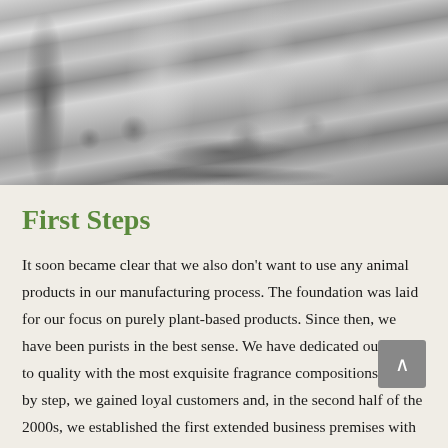[Figure (photo): Black and white photograph of various glass bottles and flasks containing flowers and botanical elements, arranged on a surface with rose petals and leaves scattered around them.]
First Steps
It soon became clear that we also don't want to use any animal products in our manufacturing process. The foundation was laid for our focus on purely plant-based products. Since then, we have been purists in the best sense. We have dedicated ourselves to quality with the most exquisite fragrance compositions. Step by step, we gained loyal customers and, in the second half of the 2000s, we established the first extended business premises with